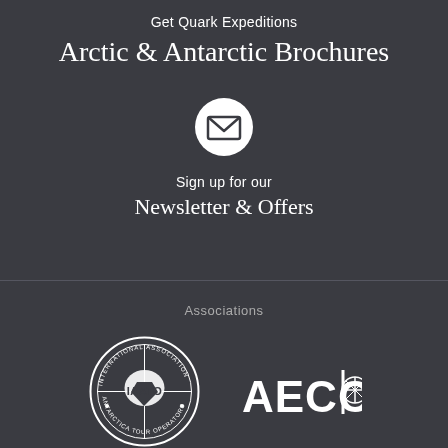Get Quark Expeditions
Arctic & Antarctic Brochures
[Figure (illustration): White circle with email/envelope icon inside]
Sign up for our
Newsletter & Offers
Associations
[Figure (logo): IAATO - International Association of Antarctica Tour Operators circular logo]
[Figure (logo): AECO logo with compass/cross symbol]